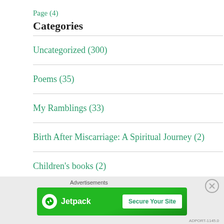Page (4)
Categories
Uncategorized (300)
Poems (35)
My Ramblings (33)
Birth After Miscarriage: A Spiritual Journey (2)
Children's books (2)
Tags
[Figure (other): Jetpack advertisement banner with 'Secure Your Site' button]